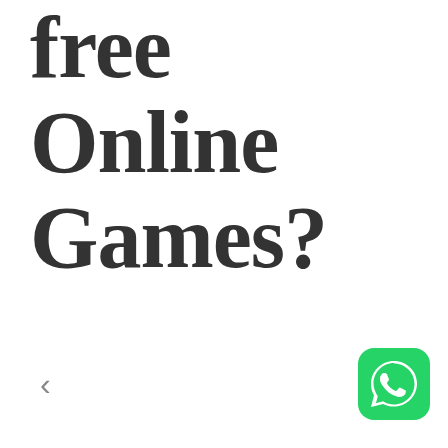free Online Games?
[Figure (logo): WhatsApp logo icon — green rounded square with white phone/chat bubble icon]
‹ (left navigation arrow)